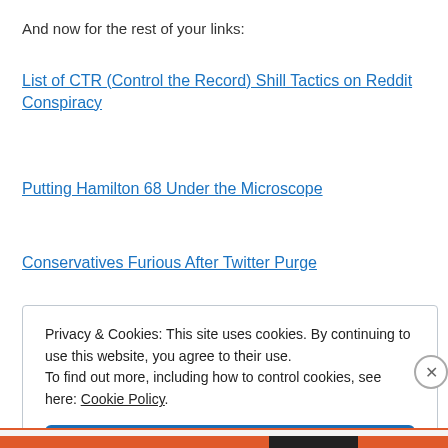And now for the rest of your links:
List of CTR (Control the Record) Shill Tactics on Reddit Conspiracy
Putting Hamilton 68 Under the Microscope
Conservatives Furious After Twitter Purge
Privacy & Cookies: This site uses cookies. By continuing to use this website, you agree to their use.
To find out more, including how to control cookies, see here: Cookie Policy
Close and accept